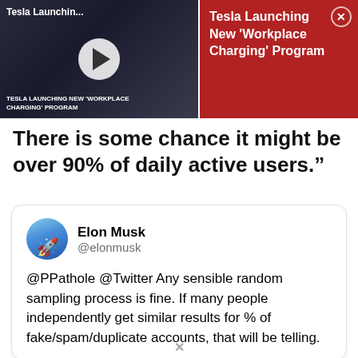[Figure (screenshot): Video thumbnail showing Tesla car interior with play button. Title bar reads 'Tesla Launchin...']
[Figure (screenshot): Red notification panel reading 'Tesla Launching New Workplace Charging Program' with close button]
There is some chance it might be over 90% of daily active users.”
Elon Musk @elonmusk
@PPathole @Twitter Any sensible random sampling process is fine. If many people independently get similar results for % of fake/spam/duplicate accounts, that will be telling.